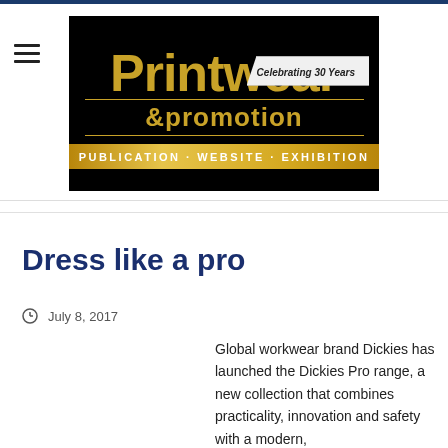[Figure (logo): Printwear & promotion logo — black background with gold text reading 'Printwear & promotion', 'Celebrating 30 Years' banner, and gold bar reading 'PUBLICATION · WEBSITE · EXHIBITION']
Dress like a pro
July 8, 2017
Global workwear brand Dickies has launched the Dickies Pro range, a new collection that combines practicality, innovation and safety with a modern,